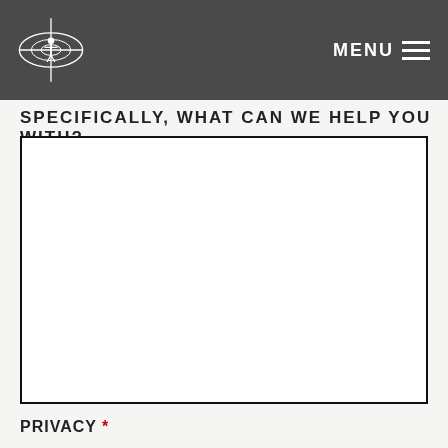MENU
SPECIFICALLY, WHAT CAN WE HELP YOU WITH?
(textarea input field)
PRIVACY *